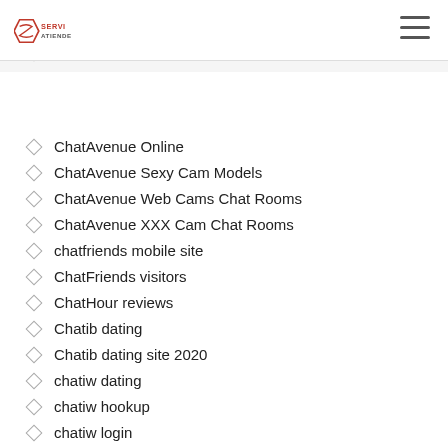Servi Atiende
chatango test
chatango username
ChatAvenue Online
ChatAvenue Sexy Cam Models
ChatAvenue Web Cams Chat Rooms
ChatAvenue XXX Cam Chat Rooms
chatfriends mobile site
ChatFriends visitors
ChatHour reviews
Chatib dating
Chatib dating site 2020
chatiw dating
chatiw hookup
chatiw login
chatiw review
chatiw reviews
chatki dating
Chatout abonnement